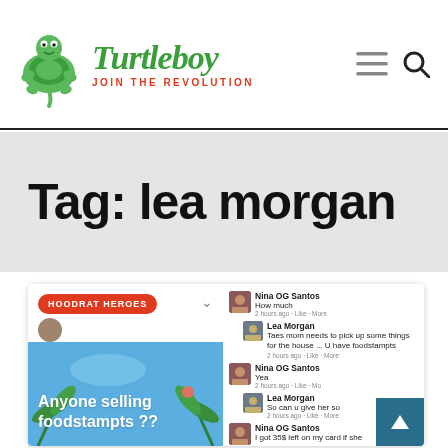Turtleboy — JOIN THE REVOLUTION
Tag: lea morgan
[Figure (screenshot): Article card with 'HOODRAT HEROES' badge, image of Facebook post reading 'Anyone selling foodstampts ??' on blue background with palm leaves, and a Facebook comment thread on the right showing conversation between Nina OG Santos and Lea Morgan about foodstamps.]